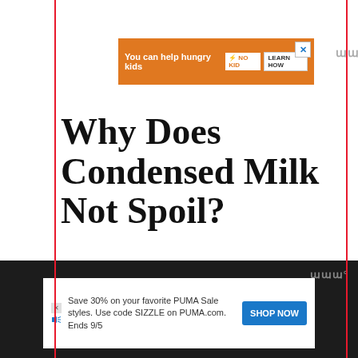[Figure (screenshot): Orange advertisement banner: 'You can help hungry kids' with NO KID HUNGRY logo and LEARN HOW button, with X close button]
Why Does Condensed Milk Not Spoil?
Botulinum toxin BT is a potent neurotoxin produced by Clostr
[Figure (screenshot): WHAT'S NEXT arrow panel showing circular image and text 'Can you use heavy...']
[Figure (screenshot): Bottom advertisement: Save 30% on your favorite PUMA Sale styles. Use code SIZZLE on PUMA.com. Ends 9/5 with SHOP NOW button]